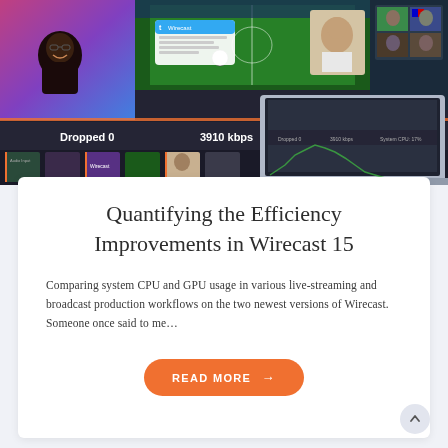[Figure (screenshot): Screenshot of Wirecast 15 live-streaming software interface showing multiple video sources including a smiling man, a football stadium, a Twitter widget, and a laptop displaying a video conference. Status bar shows: Dropped 0, 3910 kbps, System CPU: 17%]
Quantifying the Efficiency Improvements in Wirecast 15
Comparing system CPU and GPU usage in various live-streaming and broadcast production workflows on the two newest versions of Wirecast. Someone once said to me…
READ MORE →